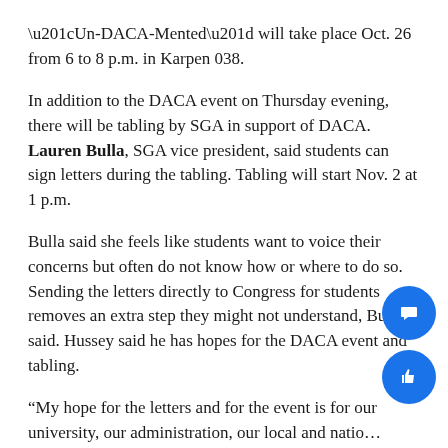“Un-DACA-Mented” will take place Oct. 26 from 6 to 8 p.m. in Karpen 038.
In addition to the DACA event on Thursday evening, there will be tabling by SGA in support of DACA. Lauren Bulla, SGA vice president, said students can sign letters during the tabling. Tabling will start Nov. 2 at 1 p.m.
Bulla said she feels like students want to voice their concerns but often do not know how or where to do so. Sending the letters directly to Congress for students removes an extra step they might not understand, Bulla said. Hussey said he has hopes for the DACA event and tabling.
“My hope for the letters and for the event is for our university, our administration, our local and natio…